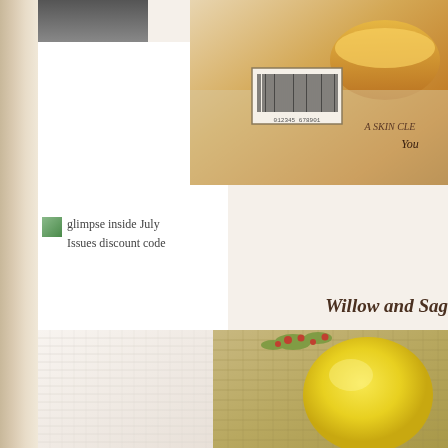[Figure (photo): Top right portion showing skin care product with orange/amber tones, including a barcode label and partial text reading 'A SKIN CLE... You']
[Figure (photo): Small green image icon next to glimpse text]
glimpse inside July Issues discount code
Receive $5 off on new August issue coupon code BLOG0816 when pro... only be used once per customer.)
Willow and Sag...
[Figure (photo): Bottom left: white fabric/cheesecloth texture]
[Figure (photo): Bottom right: lemon and herbs on burlap fabric]